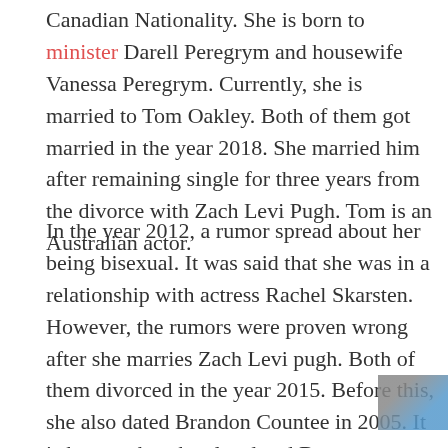Canadian Nationality. She is born to minister Darell Peregrym and housewife Vanessa Peregrym. Currently, she is married to Tom Oakley. Both of them got married in the year 2018. She married him after remaining single for three years from the divorce with Zach Levi Pugh. Tom is an Australian actor.
In the year 2012, a rumor spread about her being bisexual. It was said that she was in a relationship with actress Rachel Skarsten. However, the rumors were proven wrong after she marries Zach Levi pugh. Both of them divorced in the year 2015. Before this, she also dated Brandon Countee in 2005. It is known that she also dated Ben Roethlisberger in the year 2007. He is a US professional footballer.